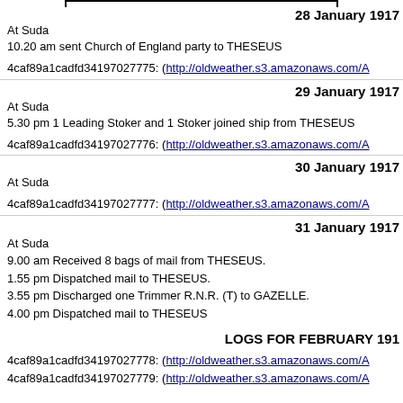28 January 1917
At Suda
10.20 am sent Church of England party to THESEUS
4caf89a1cadfd34197027775: (http://oldweather.s3.amazonaws.com/A
29 January 1917
At Suda
5.30 pm 1 Leading Stoker and 1 Stoker joined ship from THESEUS
4caf89a1cadfd34197027776: (http://oldweather.s3.amazonaws.com/A
30 January 1917
At Suda
4caf89a1cadfd34197027777: (http://oldweather.s3.amazonaws.com/A
31 January 1917
At Suda
9.00 am Received 8 bags of mail from THESEUS.
1.55 pm Dispatched mail to THESEUS.
3.55 pm Discharged one Trimmer R.N.R. (T) to GAZELLE.
4.00 pm Dispatched mail to THESEUS
LOGS FOR FEBRUARY 191
4caf89a1cadfd34197027778: (http://oldweather.s3.amazonaws.com/A
4caf89a1cadfd34197027779: (http://oldweather.s3.amazonaws.com/A